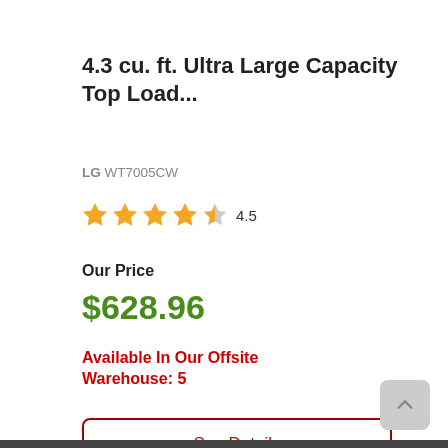4.3 cu. ft. Ultra Large Capacity Top Load...
LG WT7005CW
[Figure (other): Star rating display: 4.5 out of 5 stars (4 full stars, 1 half star, rating text '4.5')]
Our Price
$628.96
Available In Our Offsite Warehouse: 5
See Details